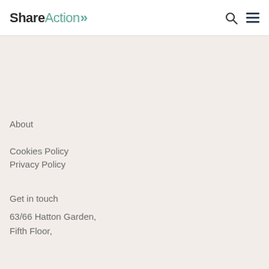ShareAction»
About
Cookies Policy
Privacy Policy
Get in touch
63/66 Hatton Garden,
Fifth Floor,